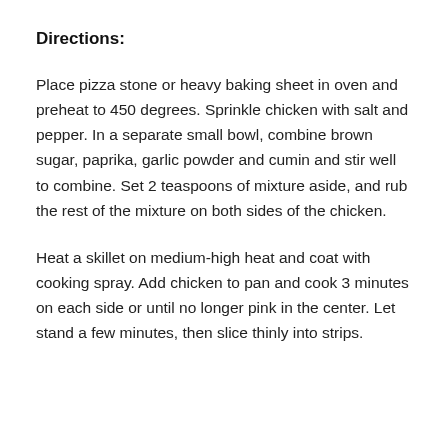Directions:
Place pizza stone or heavy baking sheet in oven and preheat to 450 degrees. Sprinkle chicken with salt and pepper. In a separate small bowl, combine brown sugar, paprika, garlic powder and cumin and stir well to combine. Set 2 teaspoons of mixture aside, and rub the rest of the mixture on both sides of the chicken.
Heat a skillet on medium-high heat and coat with cooking spray. Add chicken to pan and cook 3 minutes on each side or until no longer pink in the center. Let stand a few minutes, then slice thinly into strips.